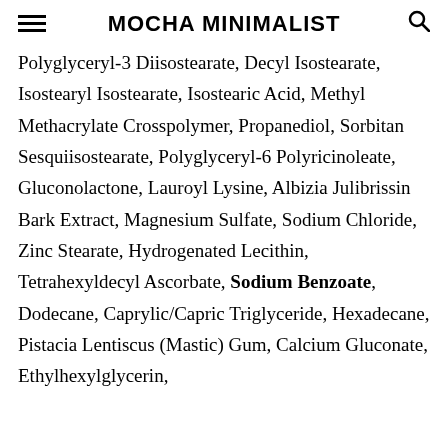MOCHA MINIMALIST
Polyglyceryl-3 Diisostearate, Decyl Isostearate, Isostearyl Isostearate, Isostearic Acid, Methyl Methacrylate Crosspolymer, Propanediol, Sorbitan Sesquiisostearate, Polyglyceryl-6 Polyricinoleate, Gluconolactone, Lauroyl Lysine, Albizia Julibrissin Bark Extract, Magnesium Sulfate, Sodium Chloride, Zinc Stearate, Hydrogenated Lecithin, Tetrahexyldecyl Ascorbate, Sodium Benzoate, Dodecane, Caprylic/Capric Triglyceride, Hexadecane, Pistacia Lentiscus (Mastic) Gum, Calcium Gluconate, Ethylhexylglycerin,